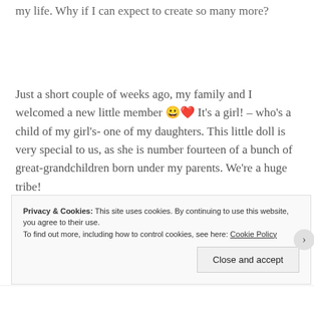my life. Why if I can expect to create so many more?
Just a short couple of weeks ago, my family and I welcomed a new little member 😀❤️ It's a girl! – who's a child of my girl's- one of my daughters. This little doll is very special to us, as she is number fourteen of a bunch of great-grandchildren born under my parents. We're a huge tribe!
Love is grand, indeed. Today I recall my dear Dad in
Privacy & Cookies: This site uses cookies. By continuing to use this website, you agree to their use. To find out more, including how to control cookies, see here: Cookie Policy
Close and accept